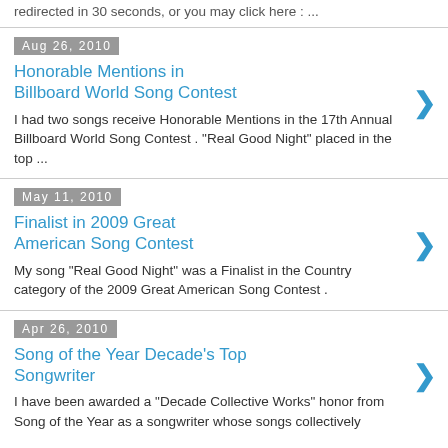redirected in 30 seconds, or you may click here : ...
Aug 26, 2010
Honorable Mentions in Billboard World Song Contest
I had two songs receive Honorable Mentions in the 17th Annual Billboard World Song Contest . "Real Good Night" placed in the top ...
May 11, 2010
Finalist in 2009 Great American Song Contest
My song "Real Good Night" was a Finalist in the Country category of the 2009 Great American Song Contest .
Apr 26, 2010
Song of the Year Decade's Top Songwriter
I have been awarded a "Decade Collective Works" honor from Song of the Year as a songwriter whose songs collectively